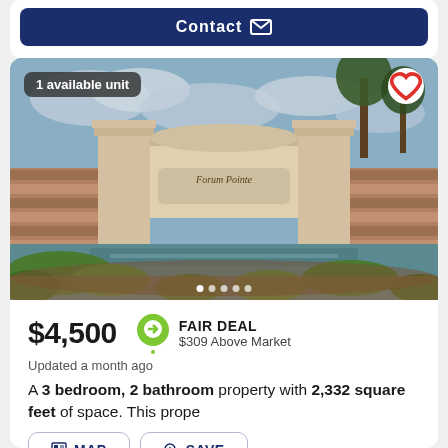[Figure (screenshot): Contact button with envelope icon on dark blue background]
[Figure (photo): Exterior entrance of Forum Pointe community with stone pillars, landscaping, and reflecting pool]
1 available unit
$4,500
FAIR DEAL $309 Above Market
Updated a month ago
A 3 bedroom, 2 bathroom property with 2,332 square feet of space. This prope
MAP   SAVE
1149 Riverscape St